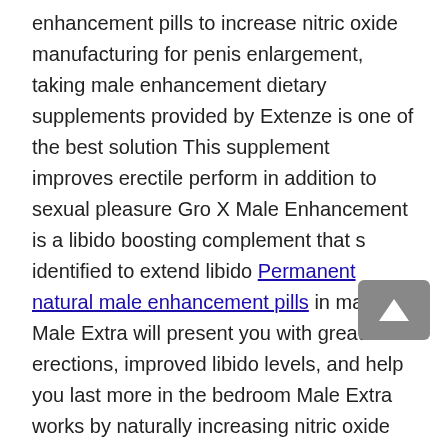enhancement pills to increase nitric oxide manufacturing for penis enlargement, taking male enhancement dietary supplements provided by Extenze is one of the best solution This supplement improves erectile perform in addition to sexual pleasure Gro X Male Enhancement is a libido boosting complement that s identified to extend libido Permanent natural male enhancement pills in males. Male Extra will present you with greater erections, improved libido levels, and help you last more in the bedroom Male Extra works by naturally increasing nitric oxide ranges in the body, leading to improved blood flow to the penis With improved blood move, you can stay harder for longer and luxuriate in extra pleasurable sex Vigrx Plus is formulated with a mix of 10 natural ingredients that embrace aphrodisiacs, erection precursors, and libido enhancers to boost sexual satisfaction for you and your associate Vigrx